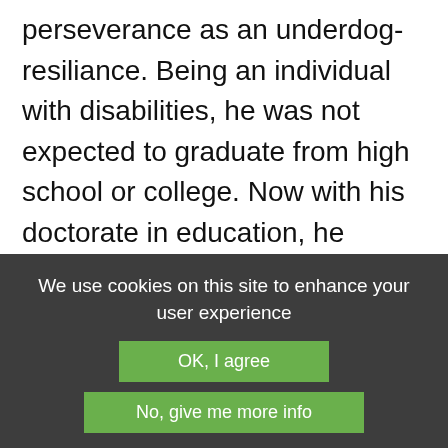perseverance as an underdog-resiliance. Being an individual with disabilities, he was not expected to graduate from high school or college. Now with his doctorate in education, he serves as a bridge builder and Jewish innovator. He dedicates his life to repairing social and religious injustices in the world
We use cookies on this site to enhance your user experience
OK, I agree
No, give me more info